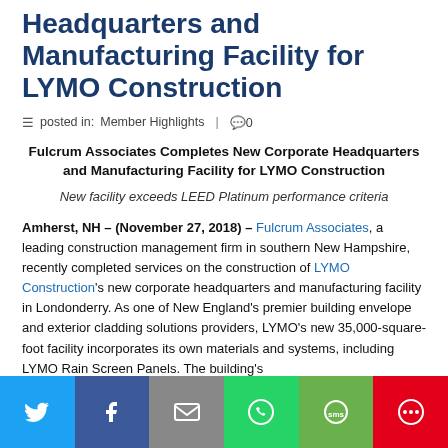Headquarters and Manufacturing Facility for LYMO Construction
posted in: Member Highlights | 0
Fulcrum Associates Completes New Corporate Headquarters and Manufacturing Facility for LYMO Construction
New facility exceeds LEED Platinum performance criteria
Amherst, NH – (November 27, 2018) – Fulcrum Associates, a leading construction management firm in southern New Hampshire, recently completed services on the construction of LYMO Construction's new corporate headquarters and manufacturing facility in Londonderry. As one of New England's premier building envelope and exterior cladding solutions providers, LYMO's new 35,000-square-foot facility incorporates its own materials and systems, including LYMO Rain Screen Panels. The building's
[Figure (infographic): Social sharing bar with six buttons: Twitter (blue), Facebook (dark blue), Email (grey), WhatsApp (green), SMS (green), More (red)]